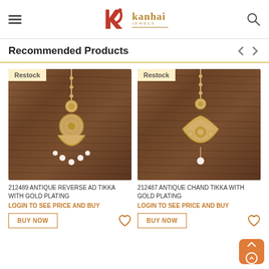Kanhai Jewels
Recommended Products
[Figure (photo): Antique gold tikka jewelry on brown textured background with 'Restock' badge]
212489 ANTIQUE REVERSE AD TIKKA WITH GOLD PLATING
LOGIN TO SEE PRICE AND BUY
[Figure (photo): Antique gold chand tikka jewelry on brown textured background with 'Restock' badge]
212487 ANTIQUE CHAND TIKKA WITH GOLD PLATING
LOGIN TO SEE PRICE AND BUY